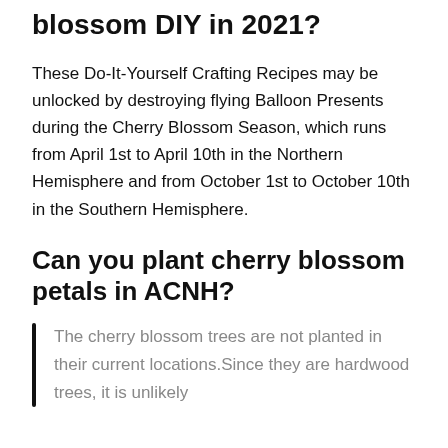blossom DIY in 2021?
These Do-It-Yourself Crafting Recipes may be unlocked by destroying flying Balloon Presents during the Cherry Blossom Season, which runs from April 1st to April 10th in the Northern Hemisphere and from October 1st to October 10th in the Southern Hemisphere.
Can you plant cherry blossom petals in ACNH?
The cherry blossom trees are not planted in their current locations.Since they are hardwood trees, it is unlikely